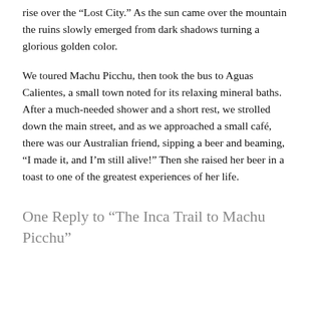rise over the “Lost City.” As the sun came over the mountain the ruins slowly emerged from dark shadows turning a glorious golden color.
We toured Machu Picchu, then took the bus to Aguas Calientes, a small town noted for its relaxing mineral baths. After a much-needed shower and a short rest, we strolled down the main street, and as we approached a small café, there was our Australian friend, sipping a beer and beaming, “I made it, and I’m still alive!” Then she raised her beer in a toast to one of the greatest experiences of her life.
One Reply to “The Inca Trail to Machu Picchu”